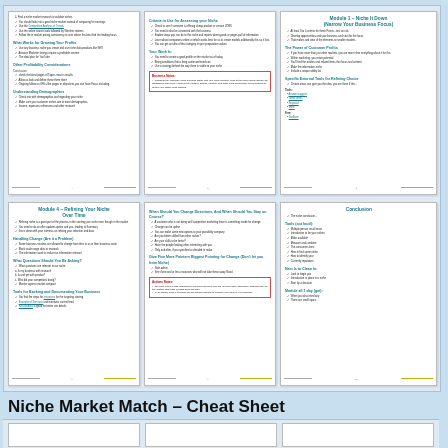[Figure (screenshot): A composite image showing multiple pages of a 'Niche Market Match – Cheat Sheet' document spread across two rows. The top row shows three document pages with teal/blue section headers, bullet points with checkmarks, and one page with a red-bordered action box. The bottom portion shows another partial row of document pages including 'Module 4 – Refining Your Niche Over Time' and a Conclusion page. The document appears to be an educational cheat sheet about niche marketing.]
Niche Market Match – Cheat Sheet